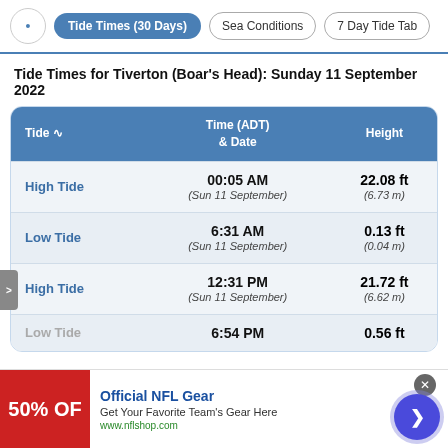Tide Times (30 Days) | Sea Conditions | 7 Day Tide Tab
Tide Times for Tiverton (Boar's Head): Sunday 11 September 2022
| Tide | Time (ADT) & Date | Height |
| --- | --- | --- |
| High Tide | 00:05 AM (Sun 11 September) | 22.08 ft (6.73 m) |
| Low Tide | 6:31 AM (Sun 11 September) | 0.13 ft (0.04 m) |
| High Tide | 12:31 PM (Sun 11 September) | 21.72 ft (6.62 m) |
| Low Tide | 6:54 PM | 0.56 ft |